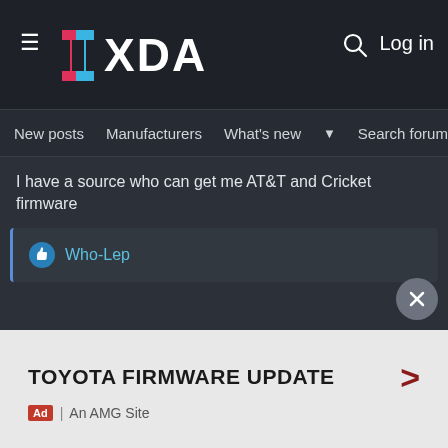XDA Forums — hamburger menu, XDA logo, search icon, Log in
New posts  Manufacturers  What's new  Search forums  Members  >
I have a source who can get me AT&T and Cricket firmware
Who-Lep
[Figure (other): Close/dismiss button — circular grey button with X]
TOYOTA FIRMWARE UPDATE  >  Ad | An AMG Site